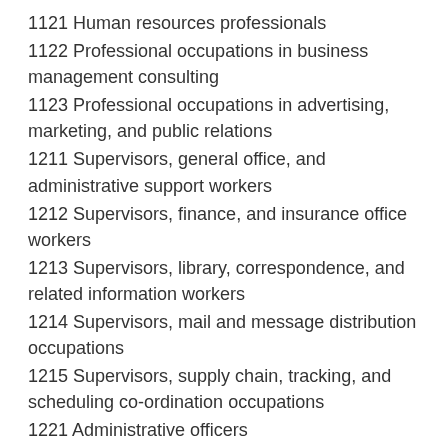1121 Human resources professionals
1122 Professional occupations in business management consulting
1123 Professional occupations in advertising, marketing, and public relations
1211 Supervisors, general office, and administrative support workers
1212 Supervisors, finance, and insurance office workers
1213 Supervisors, library, correspondence, and related information workers
1214 Supervisors, mail and message distribution occupations
1215 Supervisors, supply chain, tracking, and scheduling co-ordination occupations
1221 Administrative officers